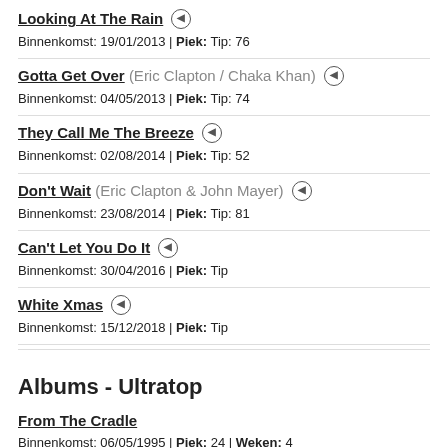Looking At The Rain | Binnenkomst: 19/01/2013 | Piek: Tip: 76
Gotta Get Over (Eric Clapton / Chaka Khan) | Binnenkomst: 04/05/2013 | Piek: Tip: 74
They Call Me The Breeze | Binnenkomst: 02/08/2014 | Piek: Tip: 52
Don't Wait (Eric Clapton & John Mayer) | Binnenkomst: 23/08/2014 | Piek: Tip: 81
Can't Let You Do It | Binnenkomst: 30/04/2016 | Piek: Tip
White Xmas | Binnenkomst: 15/12/2018 | Piek: Tip
Albums - Ultratop
From The Cradle | Binnenkomst: 06/05/1995 | Piek: 24 | Weken: 4
Pilgrim | Binnenkomst: 14/03/1998 | Piek: 9 | Weken: 12